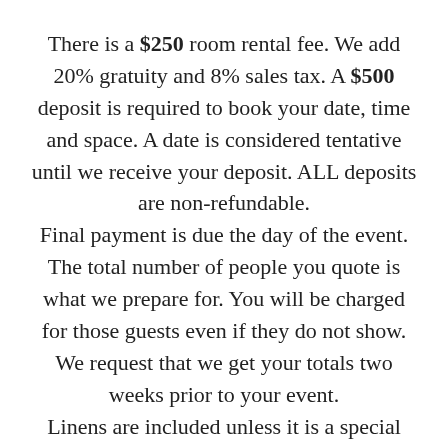There is a $250 room rental fee. We add 20% gratuity and 8% sales tax. A $500 deposit is required to book your date, time and space. A date is considered tentative until we receive your deposit. ALL deposits are non-refundable.

Final payment is due the day of the event. The total number of people you quote is what we prepare for. You will be charged for those guests even if they do not show. We request that we get your totals two weeks prior to your event.

Linens are included unless it is a special order. If you want to complete a room with ivory chair covers there is an additional charge of $3 per chair. Please do not hesitate to call any time for further information, questions or special request.